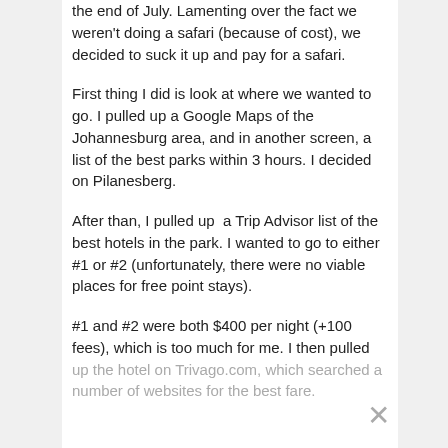the end of July. Lamenting over the fact we weren't doing a safari (because of cost), we decided to suck it up and pay for a safari.
First thing I did is look at where we wanted to go. I pulled up a Google Maps of the Johannesburg area, and in another screen, a list of the best parks within 3 hours. I decided on Pilanesberg.
After than, I pulled up  a Trip Advisor list of the best hotels in the park. I wanted to go to either #1 or #2 (unfortunately, there were no viable places for free point stays).
#1 and #2 were both $400 per night (+100 fees), which is too much for me. I then pulled up the hotel on Trivago.com, which searched a number of websites for the best fare.